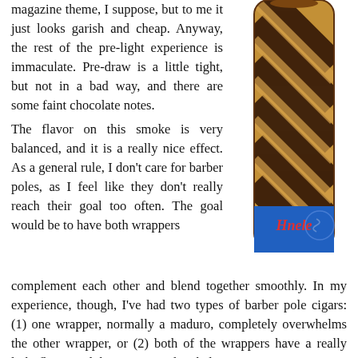magazine theme, I suppose, but to me it just looks garish and cheap. Anyway, the rest of the pre-light experience is immaculate. Pre-draw is a little tight, but not in a bad way, and there are some faint chocolate notes.
[Figure (photo): A barber pole style cigar with alternating dark brown and light tan spiral wrappers, featuring a blue band labeled 'Huele' with red text.]
The flavor on this smoke is very balanced, and it is a really nice effect. As a general rule, I don't care for barber poles, as I feel like they don't really reach their goal too often. The goal would be to have both wrappers complement each other and blend together smoothly. In my experience, though, I've had two types of barber pole cigars: (1) one wrapper, normally a maduro, completely overwhelms the other wrapper, or (2) both of the wrappers have a really light flavor and they're just underwhelming.
Like I said, though, the Hustler is in a different class. All of the flavors are blended together perfectly. The Mata Fina gives